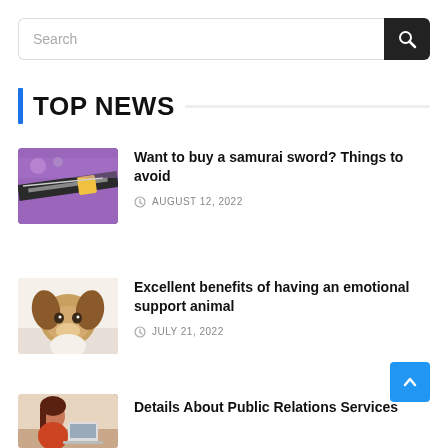Search
TOP NEWS
Want to buy a samurai sword? Things to avoid
AUGUST 12, 2022
[Figure (photo): Samurai sword on purple background]
Excellent benefits of having an emotional support animal
JULY 21, 2022
[Figure (photo): Beagle puppy being held]
Details About Public Relations Services
[Figure (photo): Woman working at desk]